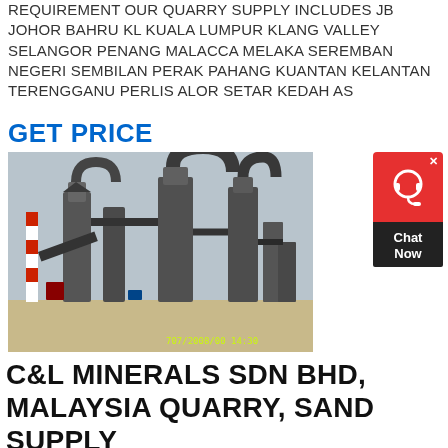REQUIREMENT OUR QUARRY SUPPLY INCLUDES JB JOHOR BAHRU KL KUALA LUMPUR KLANG VALLEY SELANGOR PENANG MALACCA MELAKA SEREMBAN NEGERI SEMBILAN PERAK PAHANG KUANTAN KELANTAN TERENGGANU PERLIS ALOR SETAR KEDAH AS
GET PRICE
[Figure (photo): Industrial quarry processing plant with tall silos, duct pipes, conveyor belts, and machinery. A red and white striped chimney is visible on the left. Timestamp visible at bottom: 707/2008/00 14:30]
[Figure (other): Chat Now widget with red background headset icon and dark lower panel with 'Chat Now' text]
C&L MINERALS SDN BHD, MALAYSIA QUARRY, SAND SUPPLY